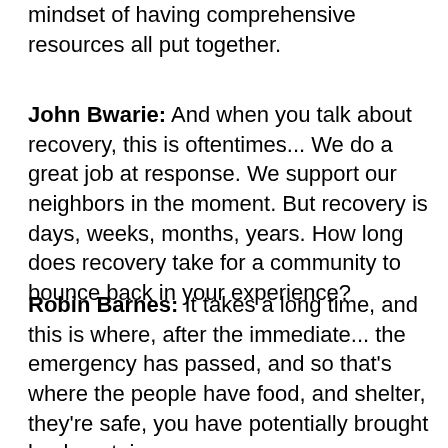mindset of having comprehensive resources all put together.
John Bwarie:    And when you talk about recovery, this is oftentimes... We do a great job at response. We support our neighbors in the moment. But recovery is days, weeks, months, years. How long does recovery take for a community to bounce back in your experience?
Robin Barnes:   It takes a long time, and this is where, after the immediate... the emergency has passed, and so that's where the people have food, and shelter, they're safe, you have potentially brought back certain